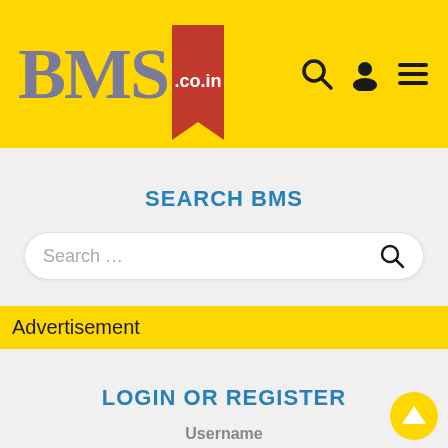[Figure (logo): BMS.co.in logo on yellow background with red bookmark ribbon, search icon, user icon, and menu icon]
SEARCH BMS
Search ...
Advertisement
LOGIN OR REGISTER
Username